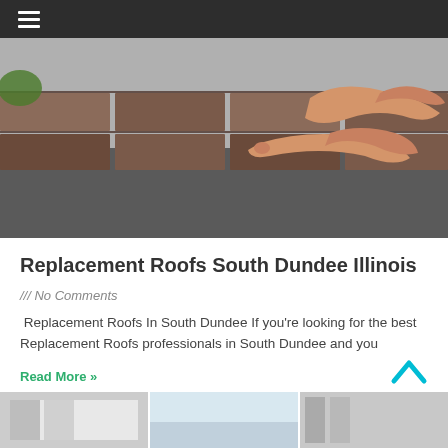Navigation bar with hamburger menu
[Figure (photo): Hands placing or inspecting brown asphalt shingles on a rooftop, close-up view showing roof tiles and underlayment]
Replacement Roofs South Dundee Illinois
/// No Comments
Replacement Roofs In South Dundee If you're looking for the best Replacement Roofs professionals in South Dundee and you
Read More »
[Figure (photo): Partial view of building exterior or roofing panels at the bottom of the page]